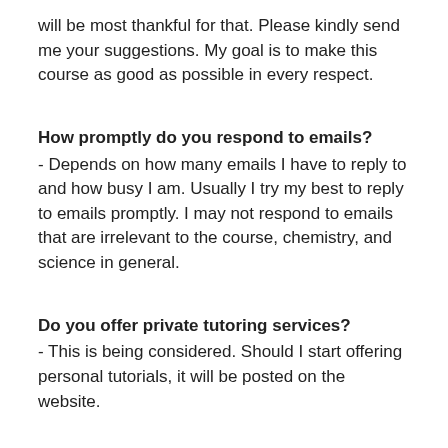will be most thankful for that. Please kindly send me your suggestions. My goal is to make this course as good as possible in every respect.
How promptly do you respond to emails?
- Depends on how many emails I have to reply to and how busy I am. Usually I try my best to reply to emails promptly. I may not respond to emails that are irrelevant to the course, chemistry, and science in general.
Do you offer private tutoring services?
- This is being considered. Should I start offering personal tutorials, it will be posted on the website.
Are you on Facebook, Twitter, Linkedin, etc.?
- No. I do not use social media. Sorry.